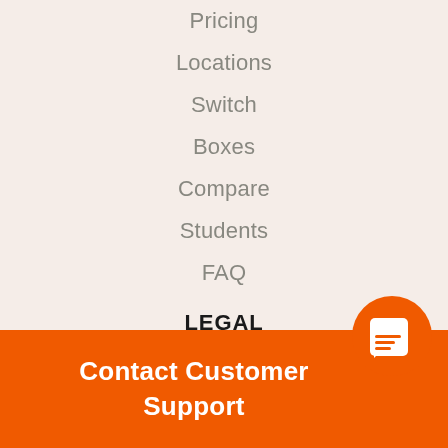Pricing
Locations
Switch
Boxes
Compare
Students
FAQ
LEGAL
Privacy Policy
Terms & Conditions
Cookies Policy
Insurance
Contact Customer Support